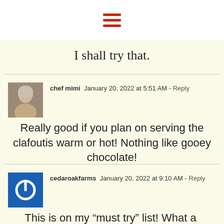[Figure (other): Hamburger menu icon with three red horizontal bars on white background]
I shall try that.
chef mimi  January 20, 2022 at 5:51 AM - Reply
Really good if you plan on serving the clafoutis warm or hot! Nothing like gooey chocolate!
cedaroakfarms  January 20, 2022 at 9:10 AM - Reply
This is on my "must try" list! What a beautiful dish.